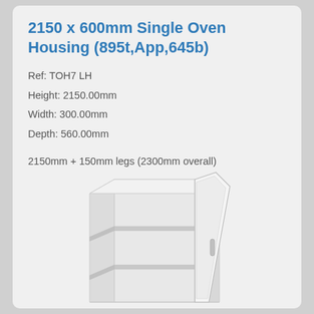2150 x 600mm Single Oven Housing (895t,App,645b)
Ref: TOH7 LH
Height: 2150.00mm
Width: 300.00mm
Depth: 560.00mm
2150mm + 150mm legs (2300mm overall)
Left hand hinged
Comes with 1 x 895mm door & 1 x 645 door
[Figure (illustration): 3D illustration of a tall single oven housing cabinet with an open left-hand hinged door, showing internal shelves]